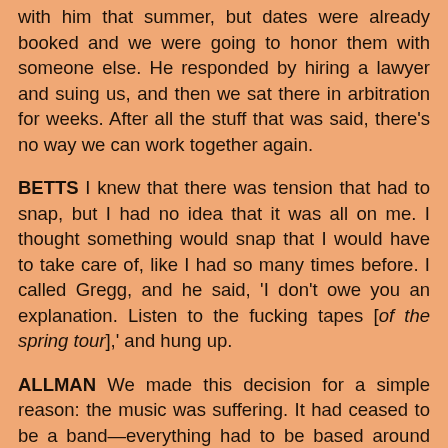with him that summer, but dates were already booked and we were going to honor them with someone else. He responded by hiring a lawyer and suing us, and then we sat there in arbitration for weeks. After all the stuff that was said, there's no way we can work together again.
BETTS I knew that there was tension that had to snap, but I had no idea that it was all on me. I thought something would snap that I would have to take care of, like I had so many times before. I called Gregg, and he said, 'I don't owe you an explanation. Listen to the fucking tapes [of the spring tour],' and hung up.
ALLMAN We made this decision for a simple reason: the music was suffering. It had ceased to be a band—everything had to be based around what Dickey was playing. I was actually getting ready to walk because I could not stand the situation anymore. I even wrote a letter of resignation. Then I spoke with Butchie [Trucks], and he was thinking the same thing, and we just realized that was